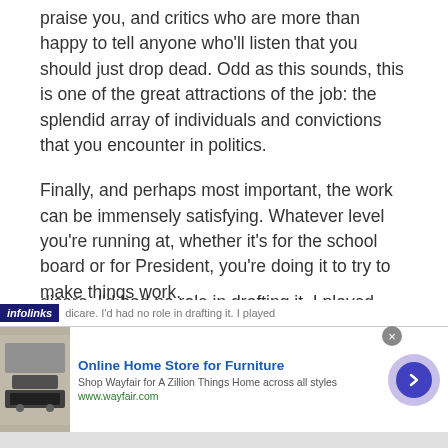praise you, and critics who are more than happy to tell anyone who'll listen that you should just drop dead. Odd as this sounds, this is one of the great attractions of the job: the splendid array of individuals and convictions that you encounter in politics.
Finally, and perhaps most important, the work can be immensely satisfying. Whatever level you're running at, whether it's for the school board or for President, you're doing it to try to make things work.
My first year in Congress, in 1965, I voted for Medicare. I'd had no role in drafting it. I played
[Figure (screenshot): Advertisement banner for Wayfair Online Home Store for Furniture with infolinks label, close button, product image and arrow button]